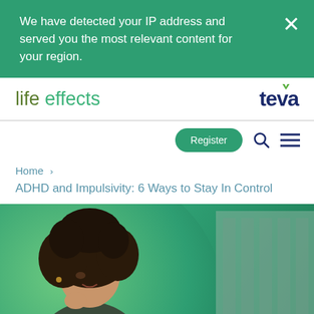We have detected your IP address and served you the most relevant content for your region.
[Figure (logo): life effects logo and Teva logo in white navigation bar]
Register
Home ›
ADHD and Impulsivity: 6 Ways to Stay In Control
[Figure (photo): Woman with curly hair looking sideways, green circular background, building in background]